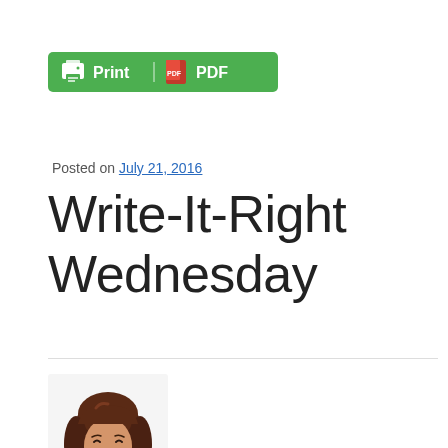[Figure (screenshot): Green Print/PDF button with printer icon and PDF icon]
Posted on July 21, 2016
Write-It-Right Wednesday
[Figure (illustration): Cartoon avatar of a woman with brown hair wearing a black outfit]
Written by
blog0rama